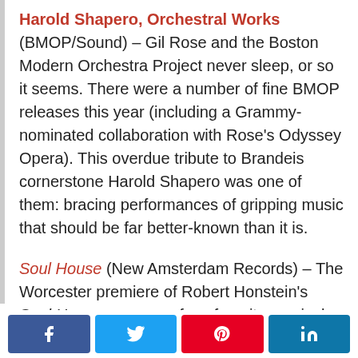Harold Shapero, Orchestral Works (BMOP/Sound) – Gil Rose and the Boston Modern Orchestra Project never sleep, or so it seems. There were a number of fine BMOP releases this year (including a Grammy-nominated collaboration with Rose's Odyssey Opera). This overdue tribute to Brandeis cornerstone Harold Shapero was one of them: bracing performances of gripping music that should be far better-known than it is.
Soul House (New Amsterdam Records) – The Worcester premiere of Robert Honstein's Soul House was one of my favorite musical events of 2018. Hub New Music's debut recording of the piece this year captured all of its charm, pathos,
[Figure (other): Social sharing buttons: Facebook, Twitter, Pinterest, LinkedIn]